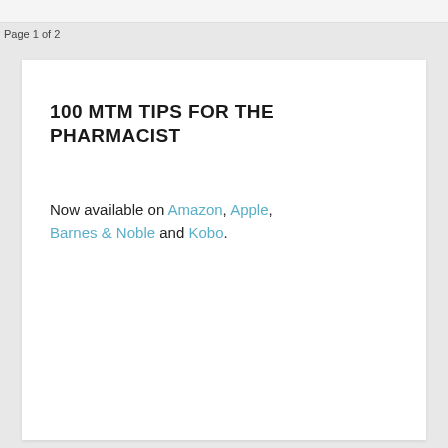Page 1 of 2
100 MTM TIPS FOR THE PHARMACIST
Now available on Amazon, Apple, Barnes & Noble and Kobo.